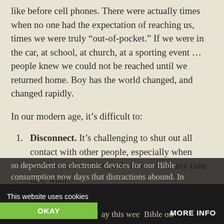like before cell phones. There were actually times when no one had the expectation of reaching us, times we were truly “out-of-pocket.” If we were in the car, at school, at church, at a sporting event … people knew we could not be reached until we returned home. Boy has the world changed, and changed rapidly.
In our modern age, it’s difficult to:
Disconnect. It’s challenging to shut out all contact with other people, especially when they’re used to being able to reach us any time they want.
Even when we do manage to withdraw from people, it’s challenging to disconnect from all media. We’re so dependent on electronic devices for our Bible consumption now days that distractions abound. In … ay this wee  Bible on
This website uses cookies  OKAY  MORE INFO